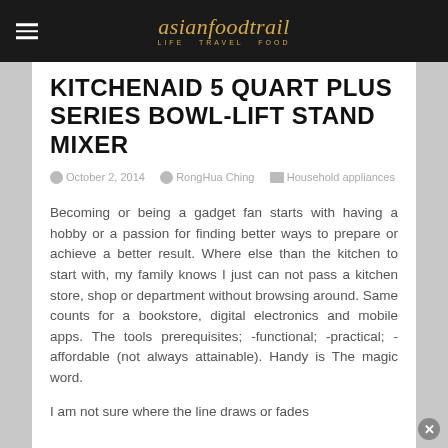asianfoodtrail LIFE TRAVEL FOOD
KITCHENAID 5 QUART PLUS SERIES BOWL-LIFT STAND MIXER
October 2, 2014   RongHua Ching   Household appliances
Becoming or being a gadget fan starts with having a hobby or a passion for finding better ways to prepare or achieve a better result. Where else than the kitchen to start with, my family knows I just can not pass a kitchen store, shop or department without browsing around. Same counts for a bookstore, digital electronics and mobile apps. The tools prerequisites; -functional; -practical; -affordable (not always attainable). Handy is The magic word.
I am not sure where the line draws or fades